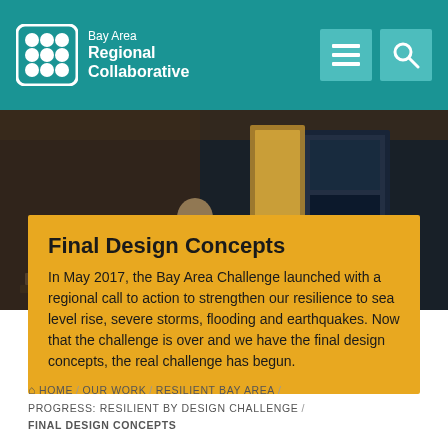[Figure (logo): Bay Area Regional Collaborative logo with grid icon on teal header background]
[Figure (photo): Indoor event photo showing people looking at large display panels/screens at an exhibition or design challenge event]
Final Design Concepts
In May 2017, the Bay Area Challenge launched with a regional call to action to strengthen our resilience to sea level rise, severe storms, flooding and earthquakes. Now that the challenge is over and we have the final design concepts, the real challenge has begun.
HOME / OUR WORK / RESILIENT BAY AREA / PROGRESS: RESILIENT BY DESIGN CHALLENGE / FINAL DESIGN CONCEPTS